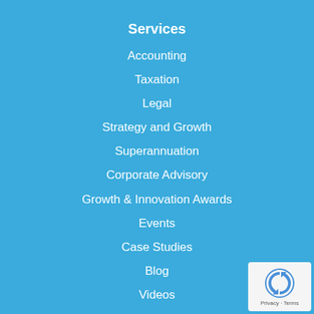Services
Accounting
Taxation
Legal
Strategy and Growth
Superannuation
Corporate Advisory
Growth & Innovation Awards
Events
Case Studies
Blog
Videos
[Figure (logo): reCAPTCHA badge with Privacy and Terms text]